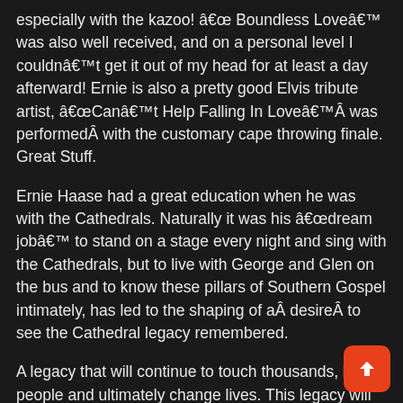especially with the kazoo! â€œ Boundless Loveâ€™ was also well received, and on a personal level I couldnâ€™t get it out of my head for at least a day afterward! Ernie is also a pretty good Elvis tribute artist, â€œCanâ€™t Help Falling In Loveâ€™Â was performedÂ with the customary cape throwing finale. Great Stuff.
Ernie Haase had a great education when he was with the Cathedrals. Naturally it was his â€œdream jobâ€™ to stand on a stage every night and sing with the Cathedrals, but to live with George and Glen on the bus and to know these pillars of Southern Gospel intimately, has led to the shaping of aÂ desireÂ to see the Cathedral legacy remembered.
A legacy that will continue to touch thousands, bless people and ultimately change lives. This legacy will never die, thanks to the classy and sincere way EHSS decided to honour the Cathedral Quartet and the groups who influenced the Cathedrals.